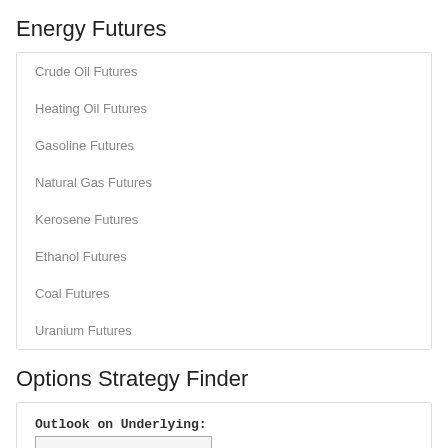Energy Futures
Crude Oil Futures
Heating Oil Futures
Gasoline Futures
Natural Gas Futures
Kerosene Futures
Ethanol Futures
Coal Futures
Uranium Futures
Options Strategy Finder
Outlook on Underlying: